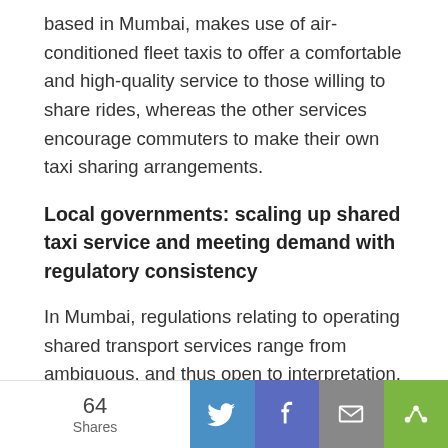based in Mumbai, makes use of air-conditioned fleet taxis to offer a comfortable and high-quality service to those willing to share rides, whereas the other services encourage commuters to make their own taxi sharing arrangements.
Local governments: scaling up shared taxi service and meeting demand with regulatory consistency
In Mumbai, regulations relating to operating shared transport services range from ambiguous, and thus open to interpretation, to strict prohibitive of shared-taxis operating as regular for-hire taxis during off-peak hours. One of the key challenges to scaling up point-to-point, shared-taxi services in Mumbai comes in the form of delineating regulatory barriers and consistency. Another
64 Shares | Twitter | Facebook | Email | Share